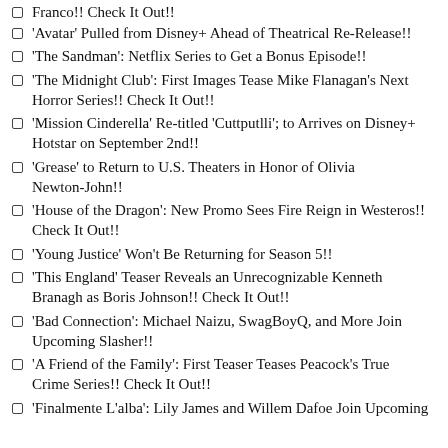Franco!! Check It Out!!
'Avatar' Pulled from Disney+ Ahead of Theatrical Re-Release!!
'The Sandman': Netflix Series to Get a Bonus Episode!!
'The Midnight Club': First Images Tease Mike Flanagan's Next Horror Series!! Check It Out!!
'Mission Cinderella' Re-titled 'Cuttputlli'; to Arrives on Disney+ Hotstar on September 2nd!!
'Grease' to Return to U.S. Theaters in Honor of Olivia Newton-John!!
'House of the Dragon': New Promo Sees Fire Reign in Westeros!! Check It Out!!
'Young Justice' Won't Be Returning for Season 5!!
'This England' Teaser Reveals an Unrecognizable Kenneth Branagh as Boris Johnson!! Check It Out!!
'Bad Connection': Michael Naizu, SwagBoyQ, and More Join Upcoming Slasher!!
'A Friend of the Family': First Teaser Teases Peacock's True Crime Series!! Check It Out!!
'Finalmente L'alba': Lily James and Willem Dafoe Join Upcoming